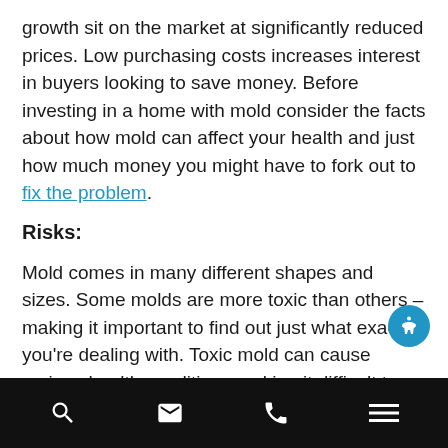growth sit on the market at significantly reduced prices. Low purchasing costs increases interest in buyers looking to save money. Before investing in a home with mold consider the facts about how mold can affect your health and just how much money you might have to fork out to fix the problem.
Risks:
Mold comes in many different shapes and sizes. Some molds are more toxic than others – making it important to find out just what exactly you're dealing with. Toxic mold can cause serious health conditions making it difficult to breathe, increase coughing, and worsening asthma. Other severe reactions include fever and infections in the lungs. Having brief exposure to mold in your home doesn't usually result in serious health conditions, but you'll need to
Navigation bar with search, email, phone, and menu icons